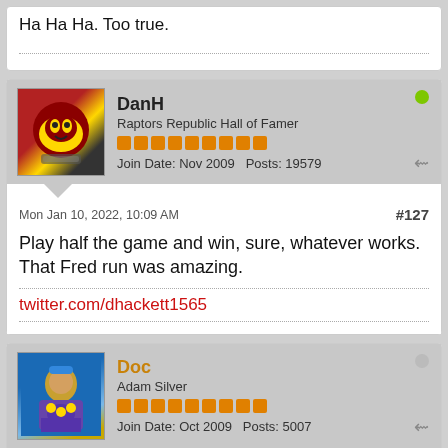Ha Ha Ha. Too true.
DanH
Raptors Republic Hall of Famer
Join Date: Nov 2009   Posts: 19579
Mon Jan 10, 2022, 10:09 AM
#127
Play half the game and win, sure, whatever works. That Fred run was amazing.
twitter.com/dhackett1565
Doc
Adam Silver
Join Date: Oct 2009   Posts: 5007